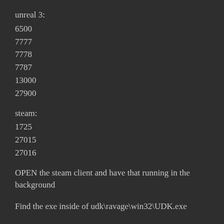unreal 3:
6500
7777
7778
7787
13000
27900
steam:
1725
27015
27016
OPEN the steam client and have that running in the background
Find the exe inside of udk\ravage\win32\UDK.exe
Right click – create shortcut